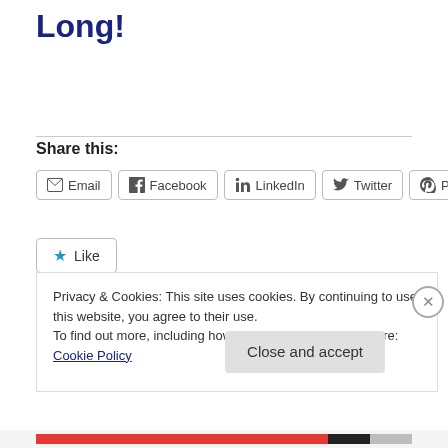Long!
Share this:
Email  Facebook  LinkedIn  Twitter  Pinterest
Like
Privacy & Cookies: This site uses cookies. By continuing to use this website, you agree to their use.
To find out more, including how to control cookies, see here: Cookie Policy
Close and accept